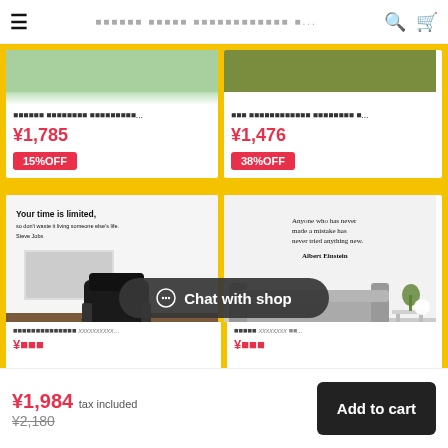☰  ウォールステッカー 英語 おしゃれ インテリアシール お...  🔍 🛒
[Figure (screenshot): Product card top-left: green color swatch image, product name in Japanese (ウォールステッカー インテリアシール...), price ¥1,785, 15%OFF badge]
[Figure (screenshot): Product card top-right: olive/dark green color swatch image, product name in Japanese (英字 ウォールステッカー インテリア...), price ¥1,476, 38%OFF badge]
[Figure (photo): Room scene with wall sticker quote: 'Your time is limited, so don't waste it living someone else's life. Steve Jobs' with leather chair]
[Figure (photo): Room scene with wall sticker quote: 'Anyone who has never made a mistake has never tried anything new. Albert Einstein' with grey sofa]
Chat with shop
¥1,984 tax included ¥2,180
Add to cart